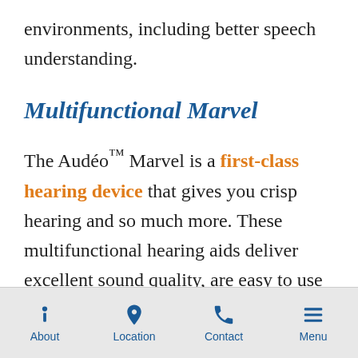environments, including better speech understanding.
Multifunctional Marvel
The Audéo™ Marvel is a first-class hearing device that gives you crisp hearing and so much more. These multifunctional hearing aids deliver excellent sound quality, are easy to use
About | Location | Contact | Menu